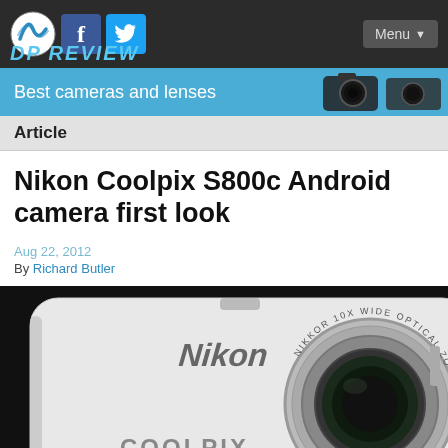Menu
Best cameras and lenses
Article
Nikon Coolpix S800c Android camera first look
Aug 22, 2012
By Richard Butler
[Figure (photo): Close-up front view of Nikon Coolpix S800c camera body in white, showing the Nikon logo, COOLPIX branding, and NIKKOR 10X Wide Optical Zoom lens]